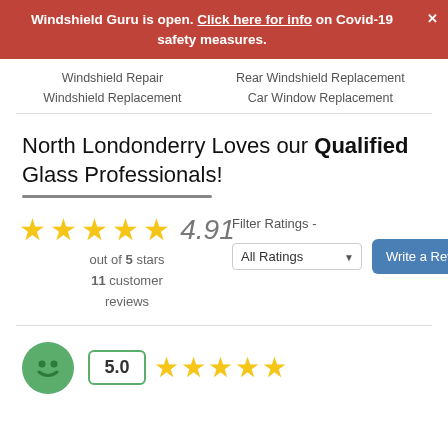Windshield Guru is open. Click here for info on Covid-19 safety measures.
Windshield Repair
Windshield Replacement
Rear Windshield Replacement
Car Window Replacement
North Londonderry Loves our Qualified Glass Professionals!
4.91 out of 5 stars 11 customer reviews
Filter Ratings - All Ratings
Write a Review
[Figure (other): Green smiley face avatar with 5.0 rating badge and 5 gold stars]